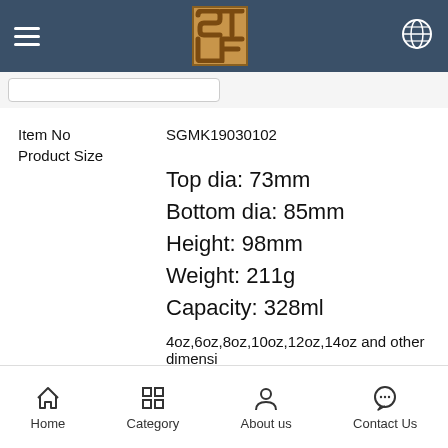Navigation bar with hamburger menu, ST logo, and globe icon
Item No   SGMK19030102
Product Size
Top dia: 73mm
Bottom dia: 85mm
Height: 98mm
Weight: 211g
Capacity: 328ml
4oz,6oz,8oz,10oz,12oz,14oz and other dimensi
Custom design are welcome
Material   Ceramic Candle Jars For Decoration
Samples   Existing clear glass samples for free
Sent collected by courier
Home  Category  About us  Contact Us